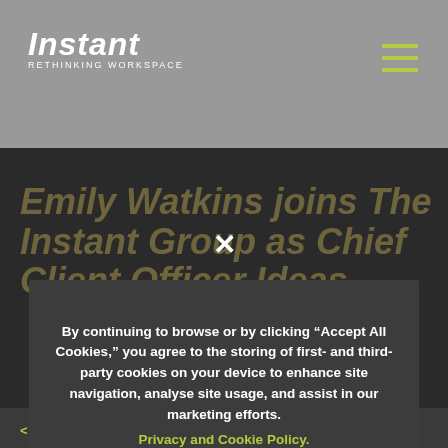Instant RETHINKING WORKSPACE
Emily Watkins joins The Instant Group as Chief Client Officer Ideas
By continuing to browse or by clicking “Accept All Cookies,” you agree to the storing of first- and third-party cookies on your device to enhance site navigation, analyse site usage, and assist in our marketing efforts.
Privacy and Cookie Policy.
Cookie Settings
Accept All Cookies
< All news